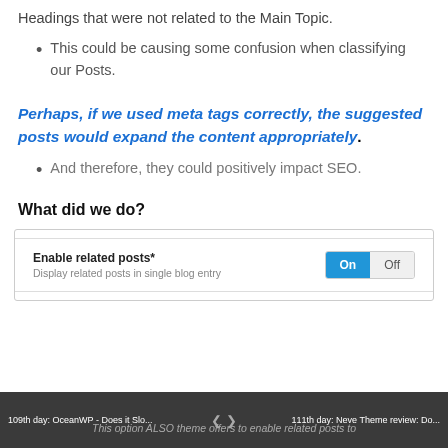Headings that were not related to the Main Topic.
This could be causing some confusion when classifying our Posts.
Perhaps, if we used meta tags correctly, the suggested posts would expand the content appropriately.
And therefore, they could positively impact SEO.
What did we do?
[Figure (screenshot): WordPress settings panel showing 'Enable related posts*' toggle set to On, with description 'Display related posts in single blog entry']